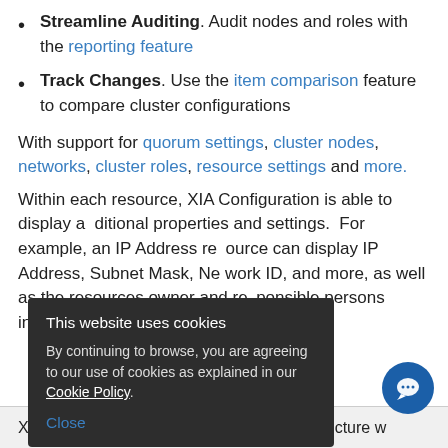Streamline Auditing. Audit nodes and roles with the reporting feature
Track Changes. Use the item comparison feature to compare cluster configurations
With support for quorum settings, cluster nodes, networks, cluster roles, resource settings and more.
Within each resource, XIA Configuration is able to display additional properties and settings. For example, an IP Address resource can display IP Address, Subnet Mask, Network ID, and more, as well as the resources owner and responsible persons information.
[Figure (screenshot): Cookie consent popup overlay with dark background reading: 'This website uses cookies. By continuing to browse, you are agreeing to our use of cookies as explained in our Cookie Policy.' with a Close button.]
XIA Configuration has a non-intrusive architecture w